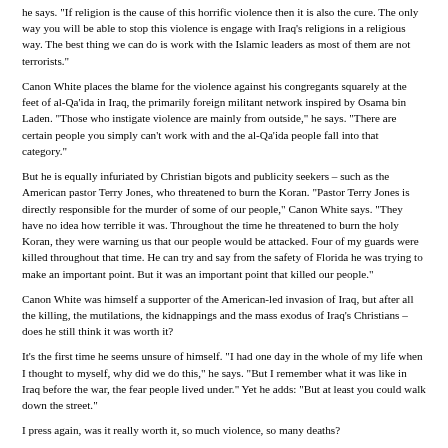he says. "If religion is the cause of this horrific violence then it is also the cure. The only way you will be able to stop this violence is engage with Iraq's religions in a religious way. The best thing we can do is work with the Islamic leaders as most of them are not terrorists."
Canon White places the blame for the violence against his congregants squarely at the feet of al-Qa'ida in Iraq, the primarily foreign militant network inspired by Osama bin Laden. "Those who instigate violence are mainly from outside," he says. "There are certain people you simply can't work with and the al-Qa'ida people fall into that category."
But he is equally infuriated by Christian bigots and publicity seekers – such as the American pastor Terry Jones, who threatened to burn the Koran. "Pastor Terry Jones is directly responsible for the murder of some of our people," Canon White says. "They have no idea how terrible it was. Throughout the time he threatened to burn the holy Koran, they were warning us that our people would be attacked. Four of my guards were killed throughout that time. He can try and say from the safety of Florida he was trying to make an important point. But it was an important point that killed our people."
Canon White was himself a supporter of the American-led invasion of Iraq, but after all the killing, the mutilations, the kidnappings and the mass exodus of Iraq's Christians – does he still think it was worth it?
It's the first time he seems unsure of himself. "I had one day in the whole of my life when I thought to myself, why did we do this," he says. "But I remember what it was like in Iraq before the war, the fear people lived under." Yet he adds: "But at least you could walk down the street."
I press again, was it really worth it, so much violence, so many deaths?